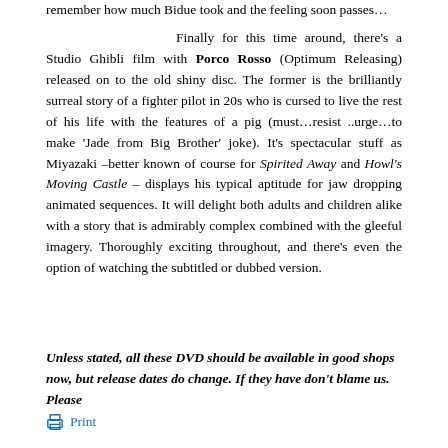remember how much Bidue took and the feeling soon passes…
Finally for this time around, there's a Studio Ghibli film with Porco Rosso (Optimum Releasing) released on to the old shiny disc. The former is the brilliantly surreal story of a fighter pilot in 20s who is cursed to live the rest of his life with the features of a pig (must…resist ..urge…to make 'Jade from Big Brother' joke). It's spectacular stuff as Miyazaki –better known of course for Spirited Away and Howl's Moving Castle – displays his typical aptitude for jaw dropping animated sequences. It will delight both adults and children alike with a story that is admirably complex combined with the gleeful imagery. Thoroughly exciting throughout, and there's even the option of watching the subtitled or dubbed version.
Unless stated, all these DVD should be available in good shops now, but release dates do change. If they have don't blame us. Please
Print